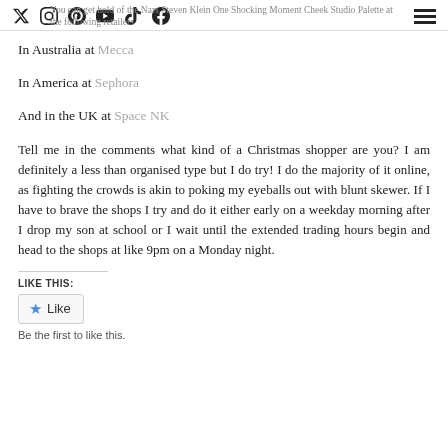You can get hold of the Nars Steven Klein One Shocking Moment Cheek Studio Palette at the following retailers
In Australia at Mecca
In America at Sephora
And in the UK at Space NK
Tell me in the comments what kind of a Christmas shopper are you? I am definitely a less than organised type but I do try! I do the majority of it online, as fighting the crowds is akin to poking my eyeballs out with blunt skewer. If I have to brave the shops I try and do it either early on a weekday morning after I drop my son at school or I wait until the extended trading hours begin and head to the shops at like 9pm on a Monday night.
LIKE THIS:
Like
Be the first to like this.